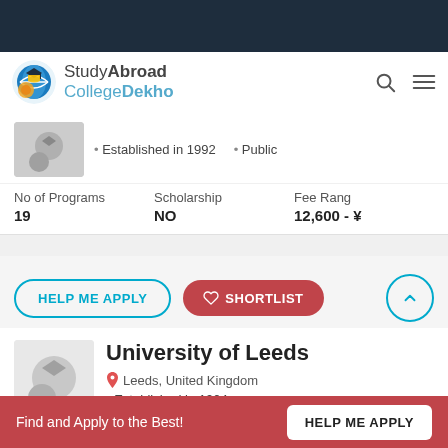StudyAbroad CollegeDekho
Established in 1992 • Public
| No of Programs | Scholarship | Fee Rang |
| --- | --- | --- |
| 19 | NO | 12,600 - ? |
HELP ME APPLY | ♡ SHORTLIST
University of Leeds
Leeds, United Kingdom
Established in 1904
Find and Apply to the Best! HELP ME APPLY